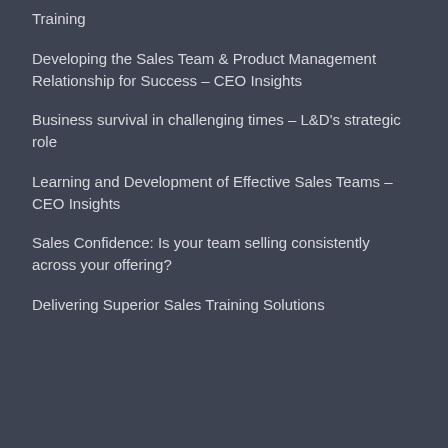Training
Developing the Sales Team & Product Management Relationship for Success – CEO Insights
Business survival in challenging times – L&D's strategic role
Learning and Development of Effective Sales Teams – CEO Insights
Sales Confidence: Is your team selling consistently across your offering?
Delivering Superior Sales Training Solutions